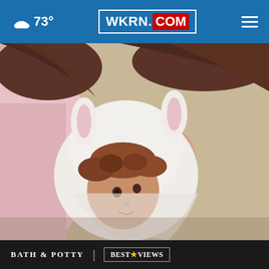☁ 73° | WKRN.COM
[Figure (photo): A young child wrapped in a white hooded towel with bunny ears, with an adult (likely a parent) behind them. The child has curly reddish-brown hair and is looking upward.]
BATH & POTTY | BESTREVIEWS